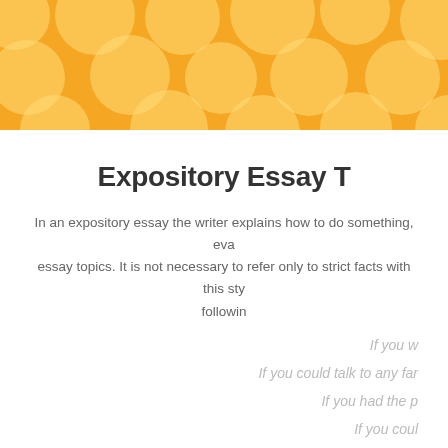[Figure (illustration): Yellow/golden banner header with polka dot circle pattern in lighter yellow tones]
Expository Essay T
In an expository essay the writer explains how to do something, eva essay topics. It is not necessary to refer only to strict facts with this sty following
If you w
If you could talk to any far
If you had the p
If you coul